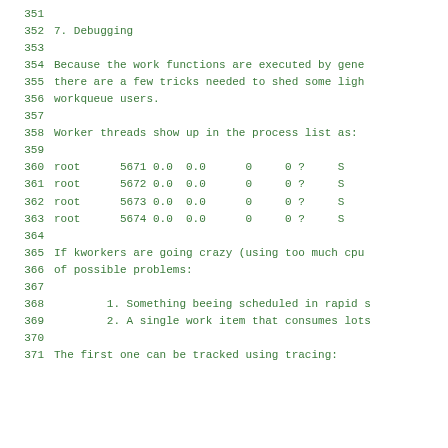351
352    7. Debugging
353
354    Because the work functions are executed by gene
355    there are a few tricks needed to shed some light
356    workqueue users.
357
358    Worker threads show up in the process list as:
359
360    root      5671 0.0  0.0      0     0 ?
361    root      5672 0.0  0.0      0     0 ?
362    root      5673 0.0  0.0      0     0 ?
363    root      5674 0.0  0.0      0     0 ?
364
365    If kworkers are going crazy (using too much cpu
366    of possible problems:
367
368        1. Something beeing scheduled in rapid s
369        2. A single work item that consumes lots
370
371    The first one can be tracked using tracing: